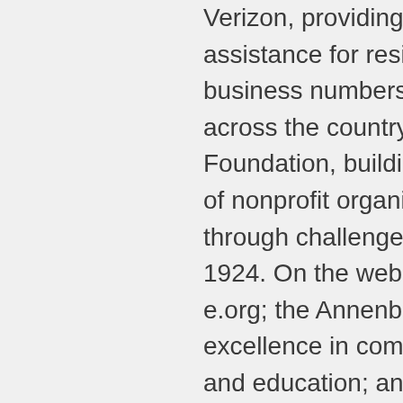Verizon, providing 411 directory assistance for residential and business numbers locally and across the country; the Kresge Foundation, building the capacity of nonprofit organizations through challenge grants since 1924. On the web at k-r-e-s-g-e.org; the Annenberg Foundation for excellence in communications and education; and the W.K. Kellogg Foundation, from vision to innovative impact, 75 years of philanthropy. This is NPR, National Public Radio.